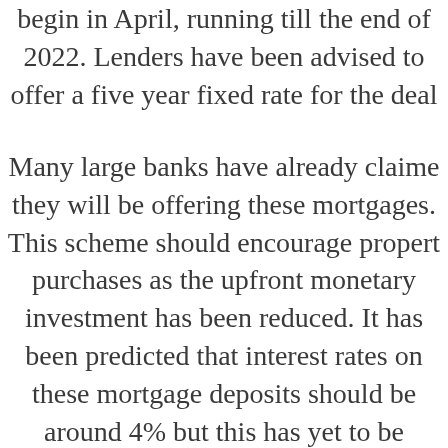begin in April, running till the end of 2022. Lenders have been advised to offer a five year fixed rate for the deal
Many large banks have already claimed they will be offering these mortgages. This scheme should encourage property purchases as the upfront monetary investment has been reduced. It has been predicted that interest rates on these mortgage deposits should be around 4% but this has yet to be confirmed.